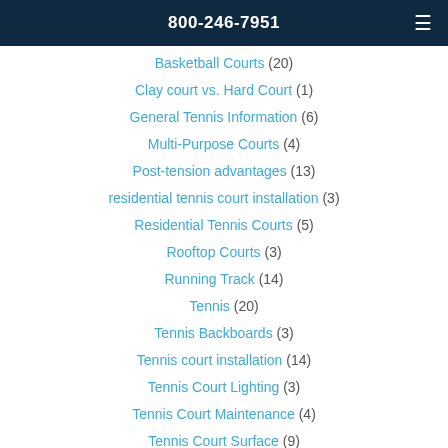800-246-7951
Basketball Courts (20)
Clay court vs. Hard Court (1)
General Tennis Information (6)
Multi-Purpose Courts (4)
Post-tension advantages (13)
residential tennis court installation (3)
Residential Tennis Courts (5)
Rooftop Courts (3)
Running Track (14)
Tennis (20)
Tennis Backboards (3)
Tennis court installation (14)
Tennis Court Lighting (3)
Tennis Court Maintenance (4)
Tennis Court Surface (9)
Tennis Courts (33)